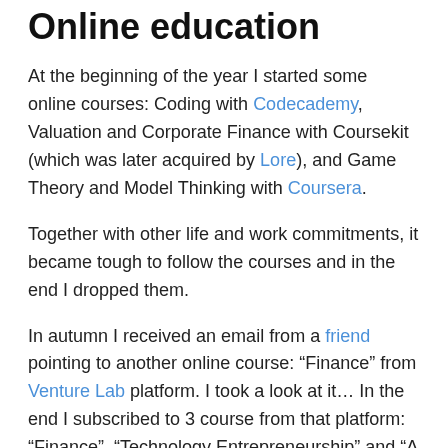Online education
At the beginning of the year I started some online courses: Coding with Codecademy, Valuation and Corporate Finance with Coursekit (which was later acquired by Lore), and Game Theory and Model Thinking with Coursera.
Together with other life and work commitments, it became tough to follow the courses and in the end I dropped them.
In autumn I received an email from a friend pointing to another online course: “Finance” from Venture Lab platform. I took a look at it… In the end I subscribed to 3 course from that platform: “Finance”, “Technology Entrepreneurship” and “A Crash Course on Creative Thinking”.
They were simultaneous and finishing them has been